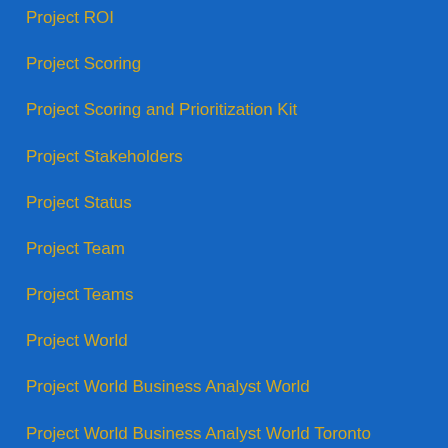Project ROI
Project Scoring
Project Scoring and Prioritization Kit
Project Stakeholders
Project Status
Project Team
Project Teams
Project World
Project World Business Analyst World
Project World Business Analyst World Toronto